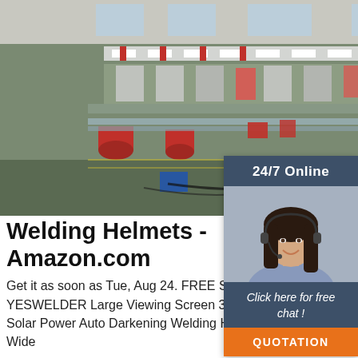[Figure (photo): Industrial factory floor showing a large hall with welding/fabrication machinery, long steel components on conveyors, red structural columns, and various industrial equipment arranged in rows.]
[Figure (infographic): Chat widget overlay in top-right: dark blue header reading '24/7 Online', photo of smiling female customer service agent with headset, dark blue section with italic text 'Click here for free chat !', and orange button labeled 'QUOTATION'.]
Welding Helmets - Amazon.com
Get it as soon as Tue, Aug 24. FREE Shipping by Amazon. YESWELDER Large Viewing Screen 3.94'X3.66' True Color Solar Power Auto Darkening Welding Helmet, 4 Arc Sensor Wide